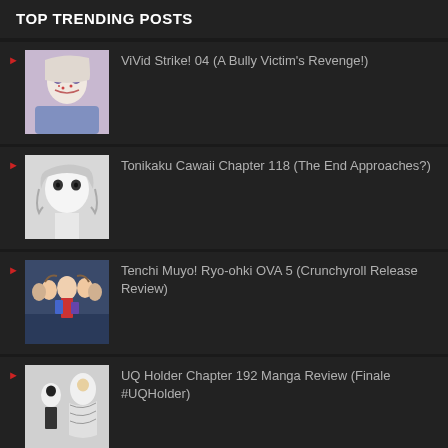TOP TRENDING POSTS
ViVid Strike! 04 (A Bully Victim's Revenge!)
Tonikaku Cawaii Chapter 118 (The End Approaches?)
Tenchi Muyo! Ryo-ohki OVA 5 (Crunchyroll Release Review)
UQ Holder Chapter 192 Manga Review (Finale #UQHolder)
Tonikaku Cawaii Chapter 147 (The past is the